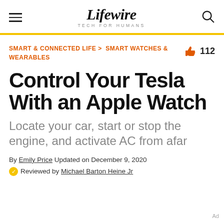Lifewire TECH FOR HUMANS
SMART & CONNECTED LIFE > SMART WATCHES & WEARABLES
Control Your Tesla With an Apple Watch
Locate your car, start or stop the engine, and activate AC from afar
By Emily Price Updated on December 9, 2020
Reviewed by Michael Barton Heine Jr